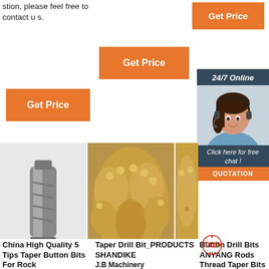stion, please feel free to contact us.
Get Price
Get Price
Get Price
[Figure (infographic): 24/7 Online customer service chat box with woman wearing headset, 'Click here for free chat!' text, and QUOTATION button]
[Figure (photo): China High Quality 5 Tips Taper Button Bits For Rock - single drill bit tool]
[Figure (photo): Taper Drill Bit_PRODUCTS SHANDIKE - multiple golden taper drill bits]
[Figure (photo): Button Drill Bits ANYANG Rods Thread Taper Bits]
China High Quality 5 Tips Taper Button Bits For Rock
Taper Drill Bit_PRODUCTS SHANDIKE J.B Machinery
Button Drill Bits ANYANG Rods Thread Taper Bits